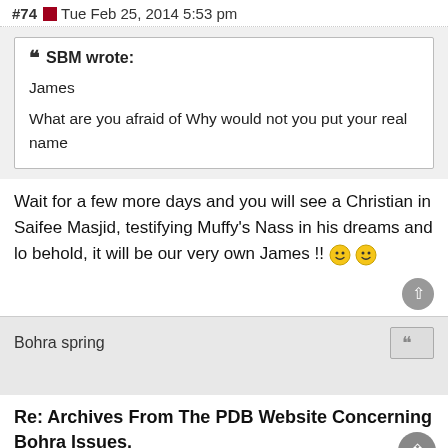#74 Tue Feb 25, 2014 5:53 pm
SBM wrote:
James
What are you afraid of Why would not you put your real name
Wait for a few more days and you will see a Christian in Saifee Masjid, testifying Muffy's Nass in his dreams and lo behold, it will be our very own James !! 😀😀
Bohra spring
Re: Archives From The PDB Website Concerning Bohra Issues.
#75 Wed Feb 26, 2014 3:14 am